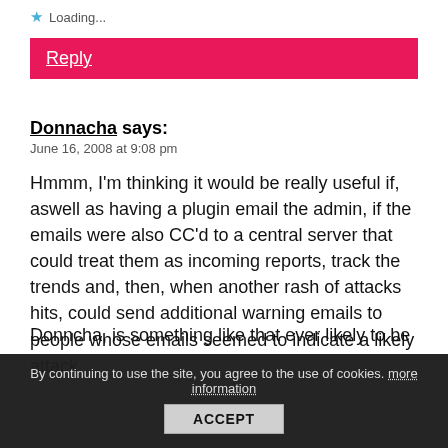Loading...
Reply
Donnacha says:
June 16, 2008 at 9:08 pm
Hmmm, I'm thinking it would be really useful if, aswell as having a plugin email the admin, if the emails were also CC'd to a central server that could treat them as incoming reports, track the trends and, then, when another rash of attacks hits, could send additional warning emails to people whose emails seemed to indicate a likely attack.
Donncha, is something like that ever likely to be
By continuing to use the site, you agree to the use of cookies. more information
ACCEPT